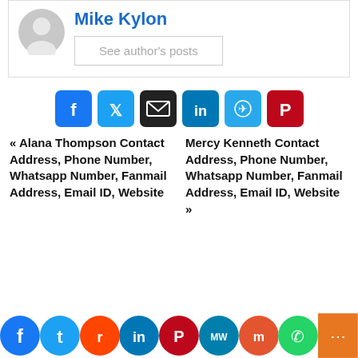[Figure (illustration): Author avatar placeholder (grey circle with person silhouette) and author name Mike Kylon with See author's posts button]
Mike Kylon
See author's posts
[Figure (infographic): Row of social share buttons: Facebook, Twitter, Email, LinkedIn, Telegram, Pinterest]
« Alana Thompson Contact Address, Phone Number, Whatsapp Number, Fanmail Address, Email ID, Website
Mercy Kenneth Contact Address, Phone Number, Whatsapp Number, Fanmail Address, Email ID, Website »
[Figure (infographic): Bottom social bar with circular icons: Facebook, Twitter, Reddit, LinkedIn, Pinterest, MeWe, Mix, WhatsApp, Share]